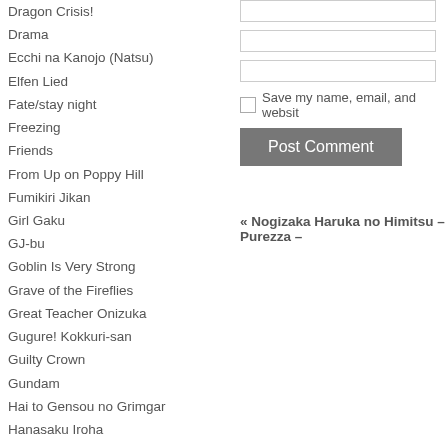Dragon Crisis!
Drama
Ecchi na Kanojo (Natsu)
Elfen Lied
Fate/stay night
Freezing
Friends
From Up on Poppy Hill
Fumikiri Jikan
Girl Gaku
GJ-bu
Goblin Is Very Strong
Grave of the Fireflies
Great Teacher Onizuka
Gugure! Kokkuri-san
Guilty Crown
Gundam
Hai to Gensou no Grimgar
Hanasaku Iroha
Hazuki Kanon
Hen Zemi
Henjyo
HenNeko
Hidan no Aria
Higurashi
Himegoto
Hitoribocchi no OO Seikatsu
Hoshizora e Kakaru Hashi
Howl's Moving Castle
I"s Pure
Iblard Jikan
Ichijouma Mankitsu Gurashi
« Nogizaka Haruka no Himitsu – Purezza –